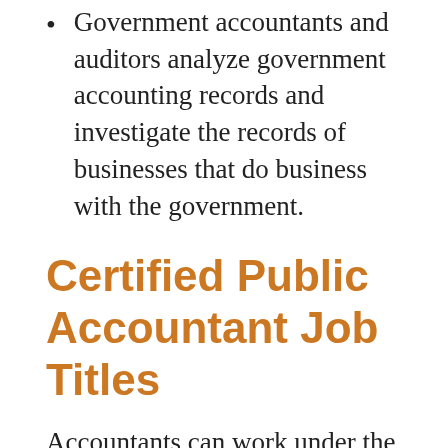Government accountants and auditors analyze government accounting records and investigate the records of businesses that do business with the government.
Certified Public Accountant Job Titles
Accountants can work under the title of chief financial officer (CFO), finance manager, or even chief executive officer (CEO). Some certified public accountants also work as consultants and assist individuals and businesses with tax preparation. Depending on where they work, and